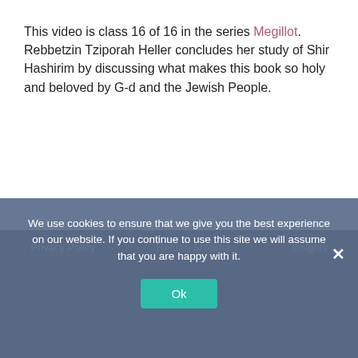This video is class 16 of 16 in the series Megillot. Rebbetzin Tziporah Heller concludes her study of Shir Hashirim by discussing what makes this book so holy and beloved by G-d and the Jewish People.
Privacy Policy   Refuah Shleima   Insights
We use cookies to ensure that we give you the best experience on our website. If you continue to use this site we will assume that you are happy with it.